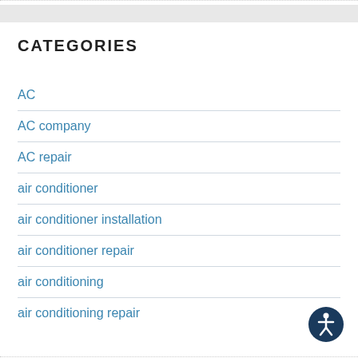CATEGORIES
AC
AC company
AC repair
air conditioner
air conditioner installation
air conditioner repair
air conditioning
air conditioning repair
[Figure (illustration): Accessibility icon — circular dark blue button with a white person/accessibility symbol]